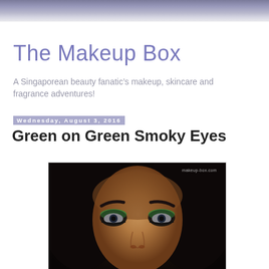[Figure (photo): Header banner image with purple-grey sky gradient]
The Makeup Box
A Singaporean beauty fanatic’s makeup, skincare and fragrance adventures!
Wednesday, August 3, 2016
Green on Green Smoky Eyes
[Figure (photo): Close-up portrait of an Asian woman with green smoky eye makeup, dark hair, watermark reading makeup-box.com]